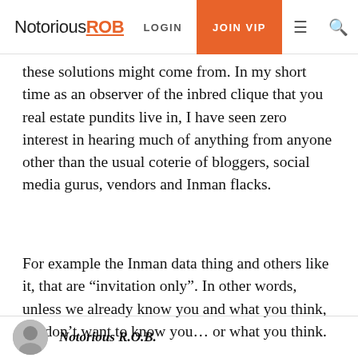NotoriousROB | LOGIN | JOIN VIP
these solutions might come from. In my short time as an observer of the inbred clique that you real estate pundits live in, I have seen zero interest in hearing much of anything from anyone other than the usual coterie of bloggers, social media gurus, vendors and Inman flacks.
For example the Inman data thing and others like it, that are “invitation only”. In other words, unless we already know you and what you think, we don’t want to know you… or what you think.
Good luck with that.
Notorious R.O.B.